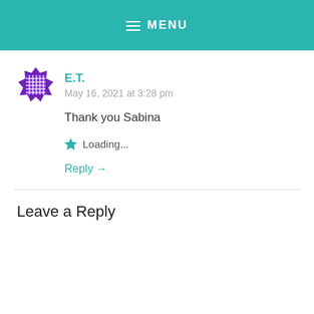MENU
E.T.
May 16, 2021 at 3:28 pm
Thank you Sabina
★ Loading...
Reply →
Leave a Reply